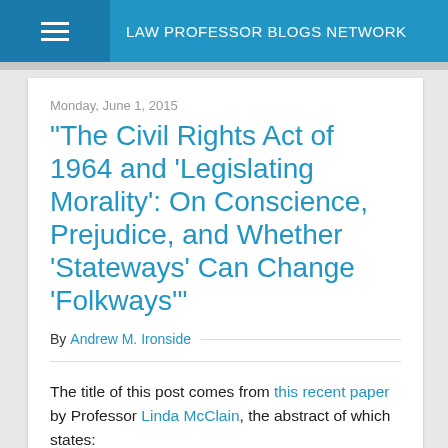LAW PROFESSOR BLOGS NETWORK
Monday, June 1, 2015
"The Civil Rights Act of 1964 and 'Legislating Morality': On Conscience, Prejudice, and Whether 'Stateways' Can Change 'Folkways'"
By Andrew M. Ironside
The title of this post comes from this recent paper by Professor Linda McClain, the abstract of which states: